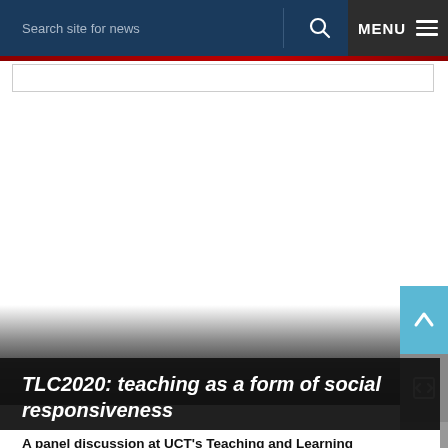Search site for news   MENU
NEWS
[Figure (photo): Large photograph (appears mostly white/blank in this crop) forming the main article hero image background]
TLC2020: teaching as a form of social responsiveness
A panel discussion at UCT's Teaching and Learning Conference 2020, brought the role of...